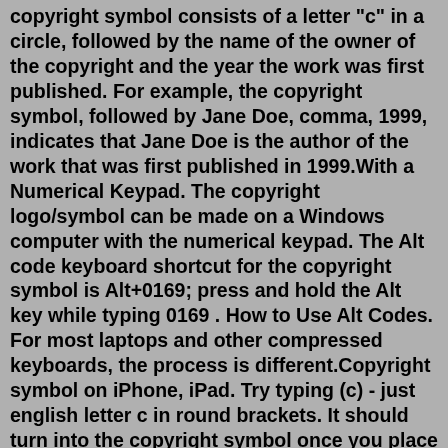copyright symbol consists of a letter "c" in a circle, followed by the name of the owner of the copyright and the year the work was first published. For example, the copyright symbol, followed by Jane Doe, comma, 1999, indicates that Jane Doe is the author of the work that was first published in 1999.With a Numerical Keypad. The copyright logo/symbol can be made on a Windows computer with the numerical keypad. The Alt code keyboard shortcut for the copyright symbol is Alt+0169; press and hold the Alt key while typing 0169 . How to Use Alt Codes. For most laptops and other compressed keyboards, the process is different.Copyright symbol on iPhone, iPad. Try typing (c) - just english letter c in round brackets. It should turn into the copyright symbol once you place some other character, like space, comma, or dot. Plus even before that, copyright sign will appear as a suggestion in predictions atop the keyboard. (r) produces a registered trademark symbol ®. This website uses cookies to improve your experience, analyze traffic and display ads. Learn